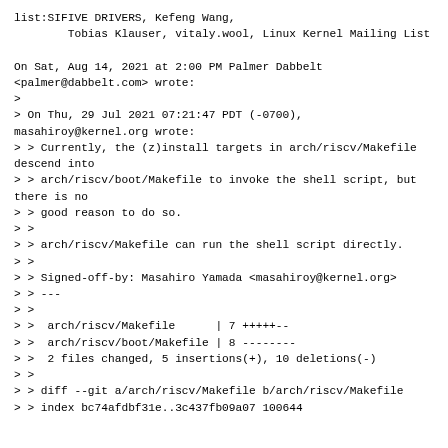list:SIFIVE DRIVERS, Kefeng Wang,
        Tobias Klauser, vitaly.wool, Linux Kernel Mailing List

On Sat, Aug 14, 2021 at 2:00 PM Palmer Dabbelt <palmer@dabbelt.com> wrote:
>
> On Thu, 29 Jul 2021 07:21:47 PDT (-0700), masahiroy@kernel.org wrote:
> > Currently, the (z)install targets in arch/riscv/Makefile descend into
> > arch/riscv/boot/Makefile to invoke the shell script, but there is no
> > good reason to do so.
> >
> > arch/riscv/Makefile can run the shell script directly.
> >
> > Signed-off-by: Masahiro Yamada <masahiroy@kernel.org>
> > ---
> >
> >  arch/riscv/Makefile      | 7 +++++--
> >  arch/riscv/boot/Makefile | 8 --------
> >  2 files changed, 5 insertions(+), 10 deletions(-)
> >
> > diff --git a/arch/riscv/Makefile b/arch/riscv/Makefile
> > index bc74afdbf31e..3c437fb09a07 100644